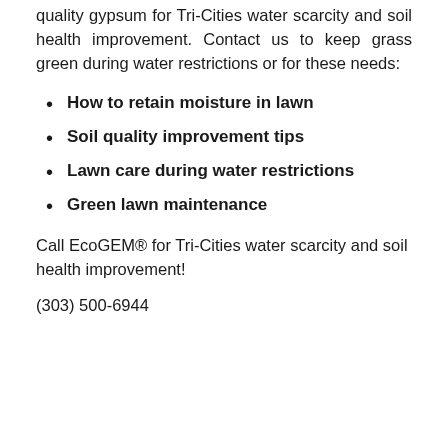quality gypsum for Tri-Cities water scarcity and soil health improvement. Contact us to keep grass green during water restrictions or for these needs:
How to retain moisture in lawn
Soil quality improvement tips
Lawn care during water restrictions
Green lawn maintenance
Call EcoGEM® for Tri-Cities water scarcity and soil health improvement!
(303) 500-6944